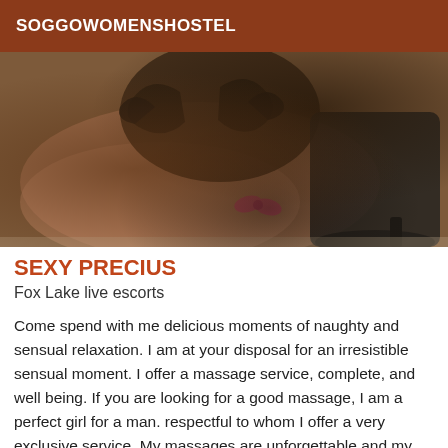SOGGOWOMENSHOSTEL
[Figure (photo): Close-up photo showing a person's back with a tattoo, wearing high heels, with a pink bow visible]
SEXY PRECIUS
Fox Lake live escorts
Come spend with me delicious moments of naughty and sensual relaxation. I am at your disposal for an irresistible sensual moment. I offer a massage service, complete, and well being. If you are looking for a good massage, I am a perfect girl for a man. respectful to whom I offer a very exclusive service. My massages are unforgettable and my truly exceptional company Let